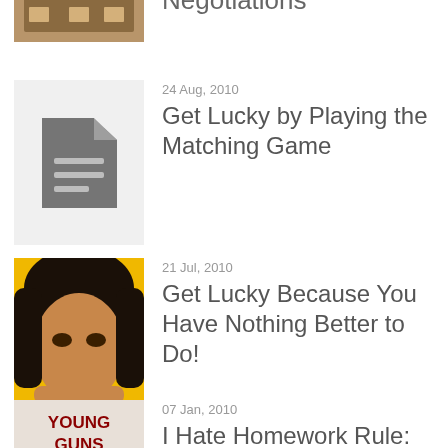[Figure (photo): Partial top-cropped thumbnail of a table/negotiation scene]
Negotiations
[Figure (illustration): Document/file icon on gray background]
24 Aug, 2010
Get Lucky by Playing the Matching Game
[Figure (photo): Close-up photo of a young woman with dark hair against yellow background]
21 Jul, 2010
Get Lucky Because You Have Nothing Better to Do!
[Figure (photo): Book cover: Young Guns]
07 Jan, 2010
I Hate Homework Rule: Follow it and Get Lucky!